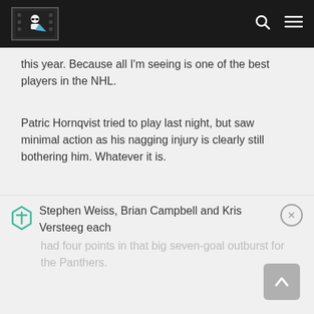[Figure (logo): Website logo/header icon in navigation bar — illustrated character with sunglasses]
this year. Because all I'm seeing is one of the best players in the NHL.
Patric Hornqvist tried to play last night, but saw minimal action as his nagging injury is clearly still bothering him. Whatever it is.
Stephen Weiss, Brian Campbell and Kris Versteeg each had four points in that big seven-goal outburst for the Panthers.